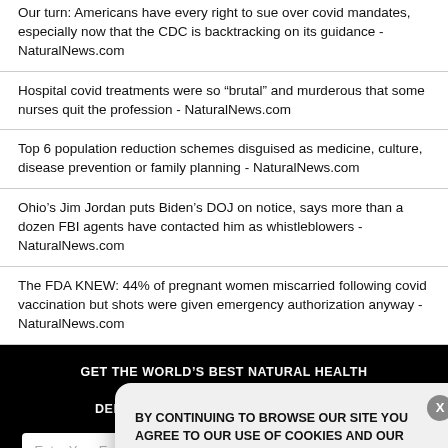Our turn: Americans have every right to sue over covid mandates, especially now that the CDC is backtracking on its guidance - NaturalNews.com
Hospital covid treatments were so “brutal” and murderous that some nurses quit the profession - NaturalNews.com
Top 6 population reduction schemes disguised as medicine, culture, disease prevention or family planning - NaturalNews.com
Ohio’s Jim Jordan puts Biden’s DOJ on notice, says more than a dozen FBI agents have contacted him as whistleblowers - NaturalNews.com
The FDA KNEW: 44% of pregnant women miscarried following covid vaccination but shots were given emergency authorization anyway - NaturalNews.com
GET THE WORLD’S BEST NATURAL HEALTH NEWSLETTER DELIVERED STRAIGHT TO YOUR INBOX
BY CONTINUING TO BROWSE OUR SITE YOU AGREE TO OUR USE OF COOKIES AND OUR PRIVACY POLICY.
Agree and close